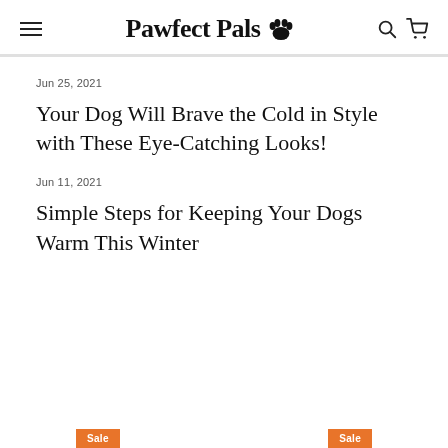Pawfect Pals
Jun 25, 2021
Your Dog Will Brave the Cold in Style with These Eye-Catching Looks!
Jun 11, 2021
Simple Steps for Keeping Your Dogs Warm This Winter